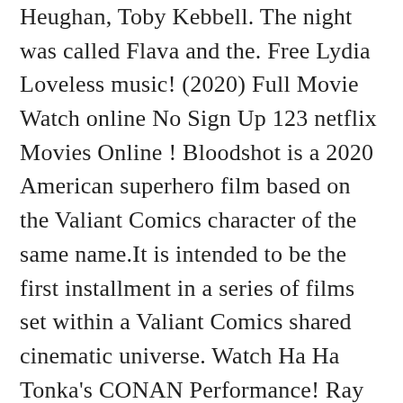Heughan, Toby Kebbell. The night was called Flava and the. Free Lydia Loveless music! (2020) Full Movie Watch online No Sign Up 123 netflix Movies Online ! Bloodshot is a 2020 American superhero film based on the Valiant Comics character of the same name.It is intended to be the first installment in a series of films set within a Valiant Comics shared cinematic universe. Watch Ha Ha Tonka's CONAN Performance! Ray Garrison, a slain soldier, is re-animated with superpowers. Bloodshot US Label music on CD, MP3 and Vinyl available at Juno Records. Magyarországra történő kiszállításért tekintse meg ezt a termékoldalt: Xbox 360 - Condemned 2: Bloodshot. includes a free MP3 of Cory Branan's song "The No-Hit Wonder," featuring Craig Finn and Steve Selvidge of The Hold Steady! October 18, 2018 34 Comments on